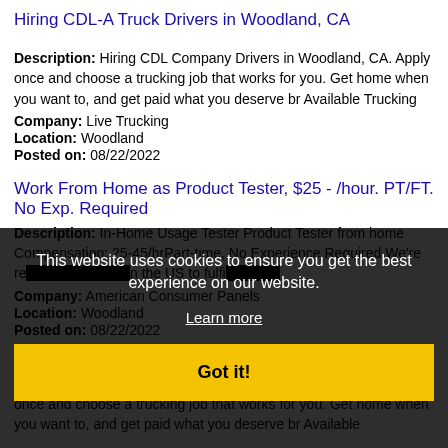Hiring CDL-A Truck Drivers in Woodland, CA
Description: Hiring CDL Company Drivers in Woodland, CA. Apply once and choose a trucking job that works for you. Get home when you want to, and get paid what you deserve br Available Trucking
Company: Live Trucking
Location: Woodland
Posted on: 08/22/2022
Work From Home as Product Tester, $25 - /hour. PT/FT. No Exp. Required
Description: In-Home Usage Tester Product Tester from home Compensation: 25-45/hrPart-time, No Experience RequiredWe're re...ide in the US to fulfi...
Company: American Consumer Panels
Location: Woodland
Posted on: 08/22/2022
CDL A Truck Driver
Description: Hiring CDL Company Drivers in Woodland, CA. Apply once and choose a trucking job that works for you. Get home when you want to, and get paid what you deserve br Available
This website uses cookies to ensure you get the best experience on our website. Learn more Got it!